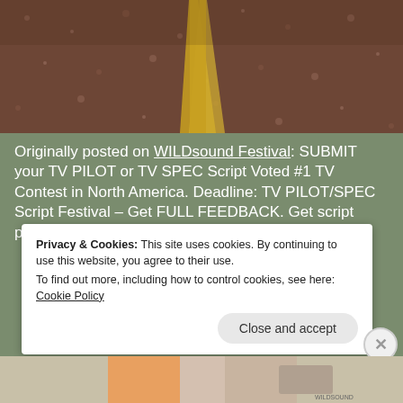[Figure (photo): Aerial view of a road with yellow center line markings, gravel/asphalt texture]
Originally posted on WILDsound Festival: SUBMIT your TV PILOT or TV SPEC Script Voted #1 TV Contest in North America. Deadline: TV PILOT/SPEC Script Festival – Get FULL FEEDBACK. Get script performed by professional actors
Privacy & Cookies: This site uses cookies. By continuing to use this website, you agree to their use. To find out more, including how to control cookies, see here: Cookie Policy
[Figure (photo): Bottom strip showing a partial colorful image, possibly a festival graphic]